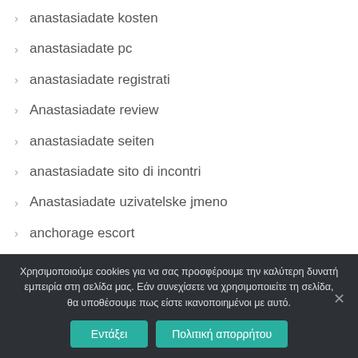anastasiadate kosten
anastasiadate pc
anastasiadate registrati
Anastasiadate review
anastasiadate seiten
anastasiadate sito di incontri
Anastasiadate uzivatelske jmeno
anchorage escort
anchorage review
Χρησιμοποιούμε cookies για να σας προσφέρουμε την καλύτερη δυνατή εμπειρία στη σελίδα μας. Εάν συνεχίσετε να χρησιμοποιείτε τη σελίδα, θα υποθέσουμε πως είστε ικανοποιημένοι με αυτό.
Εντάξει | Πολιτική απορρήτου